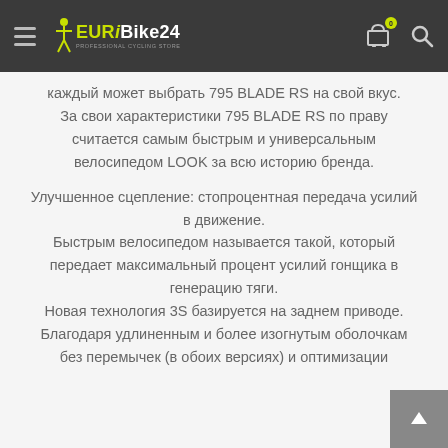EURiBike24 navigation bar with hamburger menu, logo, cart icon (0 items), and search icon
каждый может выбрать 795 BLADE RS на свой вкус.
За свои характеристики 795 BLADE RS по праву считается самым быстрым и универсальным велосипедом LOOK за всю историю бренда.
Улучшенное сцепление: стопроцентная передача усилий в движение.
Быстрым велосипедом называется такой, который передает максимальный процент усилий гонщика в генерацию тяги.
Новая технология 3S базируется на заднем приводе. Благодаря удлиненным и более изогнутым оболочкам без перемычек (в обоих версиях) и оптимизации